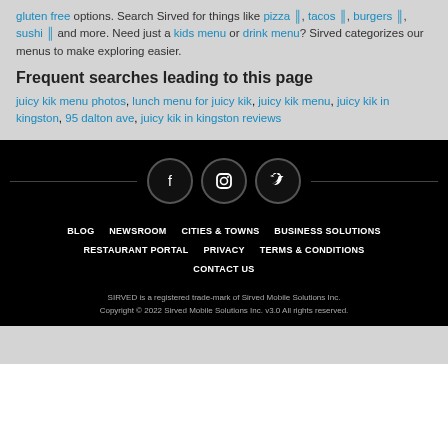gluten free options. Search Sirved for things like pizza 🍕, tacos 🌮, burgers 🍔, sushi 🍣 and more. Need just a kids menu or drink menu? Sirved categorizes our menus to make exploring easier.
Frequent searches leading to this page
juicy kik menu photos, lunch menu for juicy kik, juicy kik menu, juicy kik in kingston, 95 dalton ave, juicy kik in kingston reviews
[Figure (infographic): Social media icons (Facebook, Instagram, Twitter) centered with horizontal lines on each side on black background]
BLOG NEWSROOM CITIES & TOWNS BUSINESS SOLUTIONS RESTAURANT PORTAL PRIVACY TERMS & CONDITIONS CONTACT US SIRVED is a registered trade-mark of Sirved Mobile Solutions Inc. Copyright © 2022 Sirved Mobile Solutions Inc. v3.0 All rights reserved.